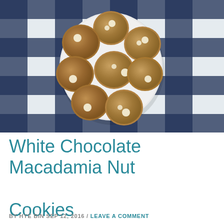[Figure (photo): Overhead view of white chocolate macadamia nut cookies piled on a white round plate, on a blue and white plaid/checkered tablecloth background]
White Chocolate Macadamia Nut Cookies
BY HYE BIN SEP 12, 2016 / LEAVE A COMMENT